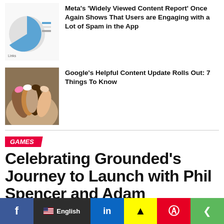[Figure (other): Pie chart thumbnail for Meta Widely Viewed Content Report article]
Meta's 'Widely Viewed Content Report' Once Again Shows That Users are Engaging with a Lot of Spam in the App
[Figure (photo): Photo of diverse hands stacked together in unity]
Google's Helpful Content Update Rolls Out: 7 Things To Know
GAMES
Celebrating Grounded's Journey to Launch with Phil Spencer and Adam Brennecke
Published 3 hours ago on August 27, 2022
[Figure (other): Social sharing bar with Facebook, LinkedIn, Snapchat, Pinterest, Share buttons and English language selector]